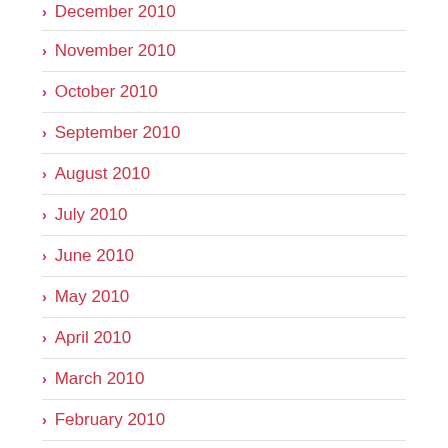December 2010
November 2010
October 2010
September 2010
August 2010
July 2010
June 2010
May 2010
April 2010
March 2010
February 2010